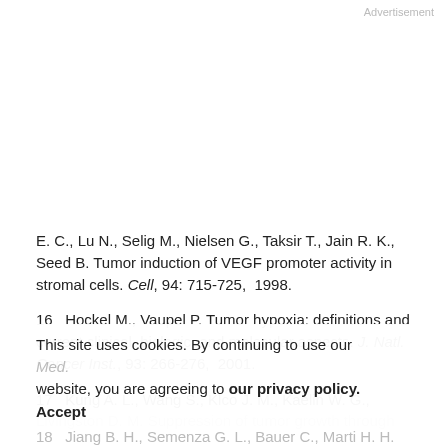Advertisement
E. C., Lu N., Selig M., Nielsen G., Taksir T., Jain R. K., Seed B. Tumor induction of VEGF promoter activity in stromal cells. Cell, 94: 715-725, 1998.
16   Hockel M., Vaupel P. Tumor hypoxia: definitions and current clinical, biologic, and molecular aspects. J. Natl. Cancer Inst., 93: 266-276, 2001.
17   Kung A. L., Wang S., Klco J. M., Kaelin W. G., Livingston D. M. Suppression of tumor growth through
This site uses cookies. By continuing to use our website, you are agreeing to our privacy policy.
Accept
18   Jiang B. H., Semenza G. L., Bauer C., Marti H. H.